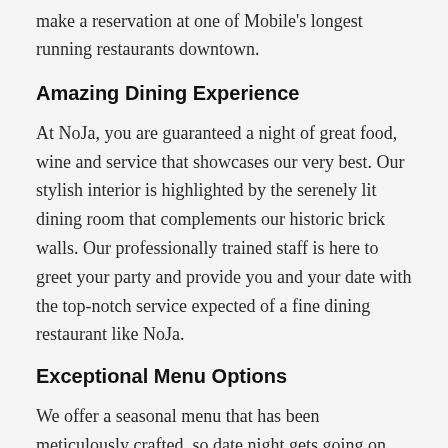make a reservation at one of Mobile's longest running restaurants downtown.
Amazing Dining Experience
At NoJa, you are guaranteed a night of great food, wine and service that showcases our very best. Our stylish interior is highlighted by the serenely lit dining room that complements our historic brick walls. Our professionally trained staff is here to greet your party and provide you and your date with the top-notch service expected of a fine dining restaurant like NoJa.
Exceptional Menu Options
We offer a seasonal menu that has been meticulously crafted, so date night gets going on the right foot. We have classic dishes such as filet mignon, stuffed pork chops, as well as seafood and amazing salad options.